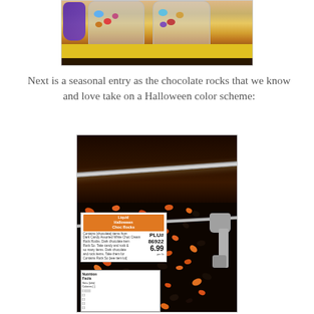[Figure (photo): Photo of colorful candy/chocolate rock bags hanging on display in a store, with yellow background visible]
Next is a seasonal entry as the chocolate rocks that we know and love take on a Halloween color scheme:
[Figure (photo): Photo of Halloween chocolate rocks (orange and black) in a bulk candy bin at a store, with a metal scoop and a price label showing PLU# 86922, price 6.99. Label reads 'Halloween Choc Rocks']